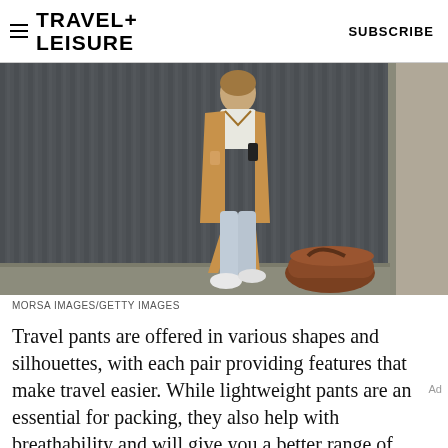TRAVEL+ LEISURE  SUBSCRIBE
[Figure (photo): Man in camel coat, white t-shirt, light jeans and white sneakers walking while looking at phone, with a brown duffle bag on the pavement beside him, against a dark corrugated metal wall]
MORSA IMAGES/GETTY IMAGES
Travel pants are offered in various shapes and silhouettes, with each pair providing features that make travel easier. While lightweight pants are an essential for packing, they also help with breathability and will give you a better range of